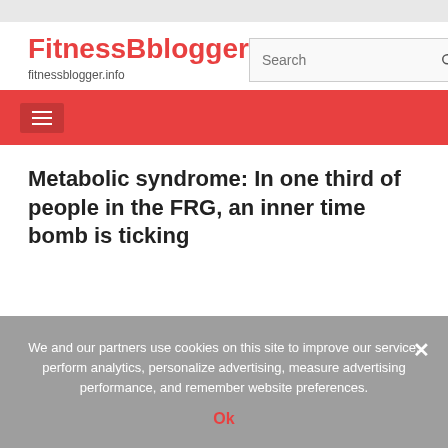FitnessBblogger
fitnessblogger.info
Metabolic syndrome: In one third of people in the FRG, an inner time bomb is ticking
We and our partners use cookies on this site to improve our service, perform analytics, personalize advertising, measure advertising performance, and remember website preferences.
Ok